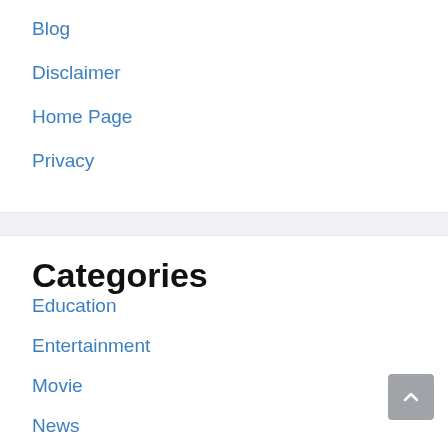Blog
Disclaimer
Home Page
Privacy
Categories
Education
Entertainment
Movie
News
Shopping